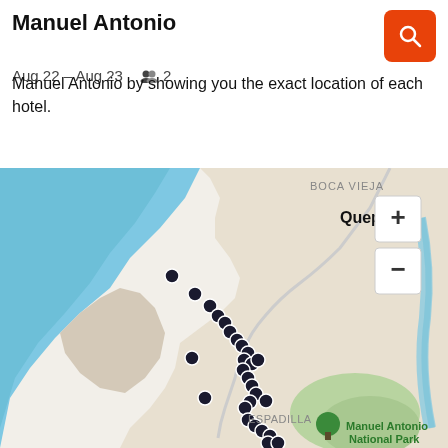Manuel Antonio
Aug 22 – Aug 23   👥 2
Manuel Antonio by showing you the exact location of each hotel.
[Figure (map): Interactive map showing Quepos and Manuel Antonio area with hotel location pins along the coast, including Boca Vieja, Quepos label, Espadilla, and Manuel Antonio National Park label. Blue ocean to the left, green park area bottom right, river on right side. Multiple black dot markers along a road/route. Zoom controls (+ and -) visible top right of map.]